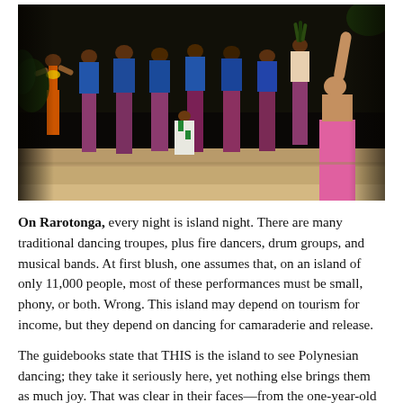[Figure (photo): Night-time outdoor scene of Polynesian/Cook Islands traditional dancers performing. Multiple performers in colorful floral shirts and traditional skirts are on a sandy area. A small child in a white and green dress dances in the center. A woman in orange and a lei is on the left. On the right, a person in a pink skirt raises their arm. The scene appears festive and communal.]
On Rarotonga, every night is island night. There are many traditional dancing troupes, plus fire dancers, drum groups, and musical bands. At first blush, one assumes that, on an island of only 11,000 people, most of these performances must be small, phony, or both. Wrong. This island may depend on tourism for income, but they depend on dancing for camaraderie and release.
The guidebooks state that THIS is the island to see Polynesian dancing; they take it seriously here, yet nothing else brings them as much joy. That was clear in their faces—from the one-year-old that kept wandering on stage to shake her nappies to the grandpa